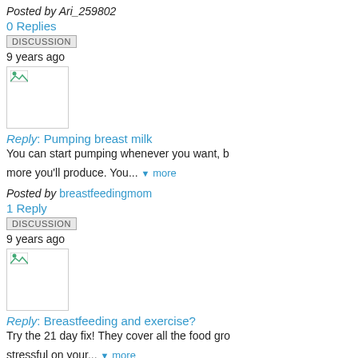Posted by Ari_259802
0 Replies
DISCUSSION
9 years ago
[Figure (other): Broken image thumbnail]
Reply: Pumping breast milk
You can start pumping whenever you want, b... more you'll produce. You... more
Posted by breastfeedingmom
1 Reply
DISCUSSION
9 years ago
[Figure (other): Broken image thumbnail]
Reply: Breastfeeding and exercise?
Try the 21 day fix! They cover all the food gro... stressful on your... more
Posted by breastfeedingmom
1 Reply
More: Discussions | Tips | Resources